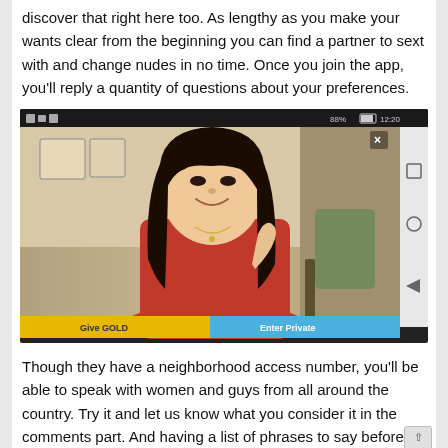discover that right here too. As lengthy as you make your wants clear from the beginning you can find a partner to sext with and change nudes in no time. Once you join the app, you'll reply a quantity of questions about your preferences.
[Figure (screenshot): Mobile app screenshot showing a video chat interface with a person on camera, 'Give GOLD' and 'Enter Private' buttons at the bottom, status bar at top, and Android navigation buttons on the right side.]
Though they have a neighborhood access number, you'll be able to speak with women and guys from all around the country. Try it and let us know what you consider it in the comments part. And having a list of phrases to say before